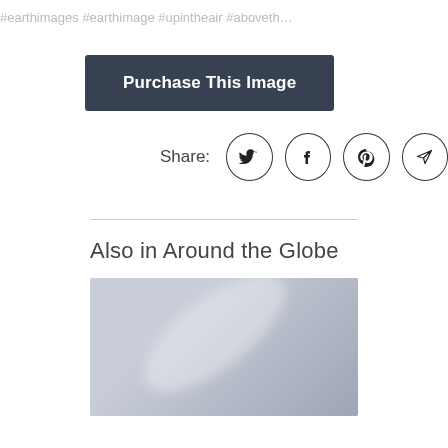#earthimages #earthimage #upintheair #aboveth…
Purchase This Image
Share:
Also in Around the Globe
[Figure (photo): Thumbnail image placeholder with light grey-blue background and a diagonal white streak, preview of another image in the 'Around the Globe' category.]